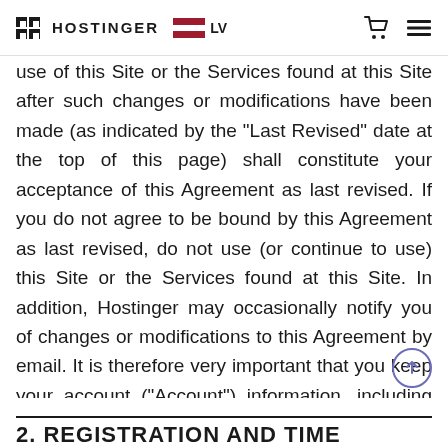HOSTINGER LV
use of this Site or the Services found at this Site after such changes or modifications have been made (as indicated by the "Last Revised" date at the top of this page) shall constitute your acceptance of this Agreement as last revised. If you do not agree to be bound by this Agreement as last revised, do not use (or continue to use) this Site or the Services found at this Site. In addition, Hostinger may occasionally notify you of changes or modifications to this Agreement by email. It is therefore very important that you keep your account ("Account") information, including your email address, current. Hostinger assumes no liability or responsibility for your failure to receive an email notification if such failure results from an inaccurate or out-of-date email address.
2. REGISTRATION AND TIME